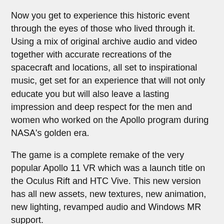Now you get to experience this historic event through the eyes of those who lived through it. Using a mix of original archive audio and video together with accurate recreations of the spacecraft and locations, all set to inspirational music, get set for an experience that will not only educate you but will also leave a lasting impression and deep respect for the men and women who worked on the Apollo program during NASA's golden era.
The game is a complete remake of the very popular Apollo 11 VR which was a launch title on the Oculus Rift and HTC Vive. This new version has all new assets, new textures, new animation, new lighting, revamped audio and Windows MR support.
What to do inside the game?
[Take control of the command module for docking with the lunar module]
[Take control of the lunar module and land it on the moons surface]
[Explore the Apollo 11 landing site and deploy the original experiments]